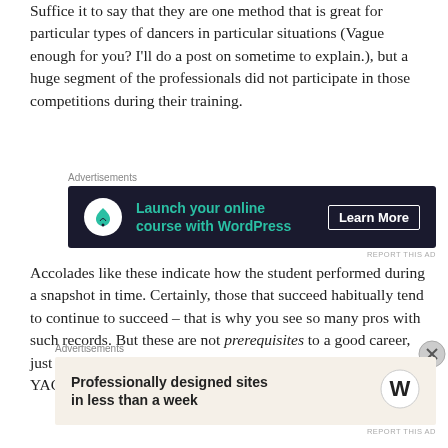Suffice it to say that they are one method that is great for particular types of dancers in particular situations (Vague enough for you? I'll do a post on sometime to explain.), but a huge segment of the professionals did not participate in those competitions during their training.
[Figure (other): Dark advertisement banner: 'Launch your online course with WordPress' with Learn More button and tree logo icon]
Accolades like these indicate how the student performed during a snapshot in time. Certainly, those that succeed habitually tend to continue to succeed – that is why you see so many pros with such records. But these are not prerequisites to a good career, just indicators of possible career potential. Scholarship or YAGP placement or not, a
[Figure (other): Light beige advertisement banner: 'Professionally designed sites in less than a week' with WordPress logo]